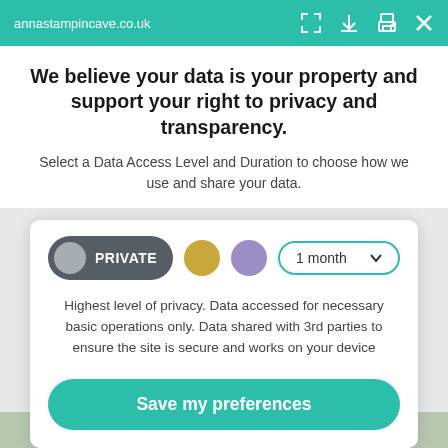annastampincave.co.uk
We believe your data is your property and support your right to privacy and transparency.
Select a Data Access Level and Duration to choose how we use and share your data.
[Figure (infographic): Privacy control interface with PRIVATE pill button (dark grey with grey circle), a gold circle, a purple circle, and a '1 month' dropdown pill with teal border and chevron.]
Highest level of privacy. Data accessed for necessary basic operations only. Data shared with 3rd parties to ensure the site is secure and works on your device
Save my preferences
Customize
Privacy policy